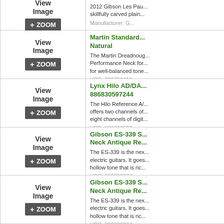[Figure (screenshot): View Image placeholder with + ZOOM button, top partial row]
2012 Gibson Les Pau... skillfully carved plain... Manufacturer: G...
[Figure (screenshot): View Image placeholder with + ZOOM button]
Martin Standard... Natural
The Martin Dreadnoug... Performance Neck for... for well-balanced tone...
UPC: 729789412...
Manufacturer: M...
[Figure (screenshot): View Image placeholder with + ZOOM button]
Lynx Hilo AD/DA...
886830597244
The Hilo Reference A/... offers two channels of... eight channels of digit...
UPC: 886830597...
Manufacturer: L...
[Figure (screenshot): View Image placeholder with + ZOOM button]
Gibson ES-339 S... Neck Antique Re...
The ES-339 is the nex... electric guitars. It goes... hollow tone that is ric...
UPC: 886830884...
Manufacturer: G...
[Figure (screenshot): View Image placeholder with + ZOOM button]
Gibson ES-339 S... Neck Antique Re...
The ES-339 is the nex... electric guitars. It goes... hollow tone that is ric...
UPC: 886830884...
Manufacturer:...